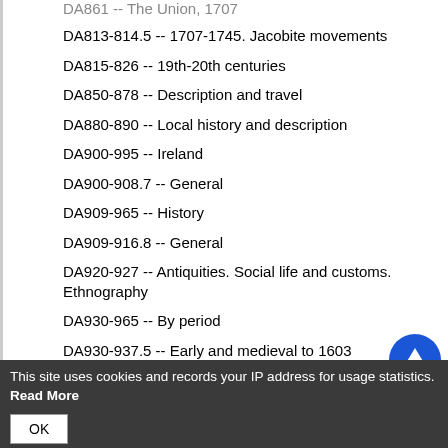DA813-814.5 -- 1707-1745. Jacobite movements
DA815-826 -- 19th-20th centuries
DA850-878 -- Description and travel
DA880-890 -- Local history and description
DA900-995 -- Ireland
DA900-908.7 -- General
DA909-965 -- History
DA909-916.8 -- General
DA920-927 -- Antiquities. Social life and customs. Ethnography
DA930-965 -- By period
DA930-937.5 -- Early and medieval to 1603
DA933.3 -- English conquest, 1154-1189
DA938-966.2 -- Modern, 1603-
DA949.5 -- The Union, 1800
DA949.7-965 -- 19th-20th centuries. Irish question
DA963 -- 1922- . Republic of Ireland. Irish Free State
DA966-966.2 -- 21st century
This site uses cookies and records your IP address for usage statistics. Read More